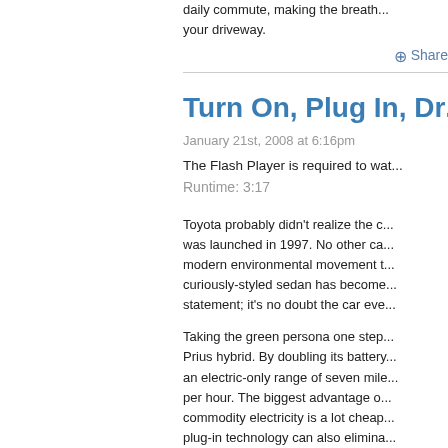the surround sound things the daily commute, making the breath... your driveway.
⊕ Share
Turn On, Plug In, Dr...
January 21st, 2008 at 6:16pm
The Flash Player is required to wat...
Runtime: 3:17
Toyota probably didn't realize the c... was launched in 1997. No other ca... modern environmental movement t... curiously-styled sedan has become... statement; it's no doubt the car eve...
Taking the green persona one step... Prius hybrid. By doubling its battery... an electric-only range of seven mile... per hour. The biggest advantage o... commodity electricity is a lot cheap... plug-in technology can also elimina... consideration for densely populate...